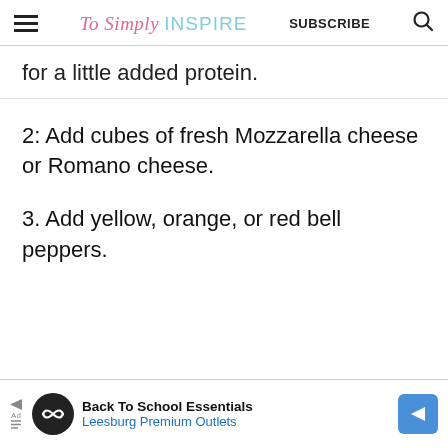To Simply INSPIRE | SUBSCRIBE
for a little added protein.
2: Add cubes of fresh Mozzarella cheese or Romano cheese.
3. Add yellow, orange, or red bell peppers.
[Figure (infographic): Advertisement banner: Back To School Essentials - Leesburg Premium Outlets, with logo icons on left and right.]